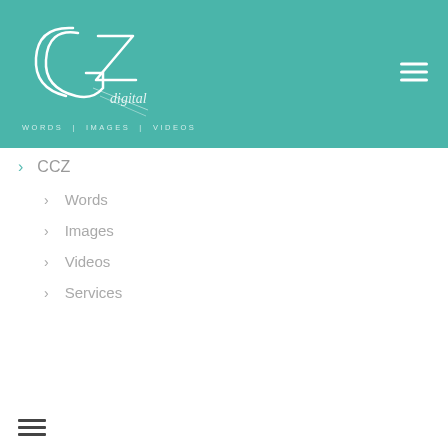[Figure (logo): CGZ Digital logo in cursive/script white lettering on teal background, with tagline WORDS | IMAGES | VIDEOS below]
> CCZ
> Words
> Images
> Videos
> Services
hamburger menu icon